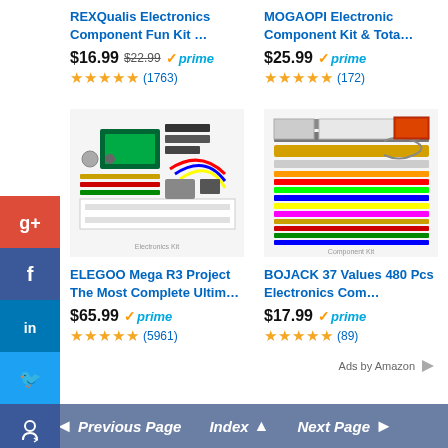REXQualis Electronics Component Fun Kit …
$16.99  $22.99  prime  (1763)
MOGAOPI Electronic Component Kit & Tota…
$25.99  prime  (172)
[Figure (photo): ELEGOO Mega R3 Project electronics kit components spread out]
ELEGOO Mega R3 Project The Most Complete Ultim…
$65.99  prime  (5961)
[Figure (photo): BOJACK 37 Values 480 Pcs Electronics components kit]
BOJACK 37 Values 480 Pcs Electronics Com…
$17.99  prime  (89)
Ads by Amazon
◄ Previous Page   Index ▲   Next Page ►